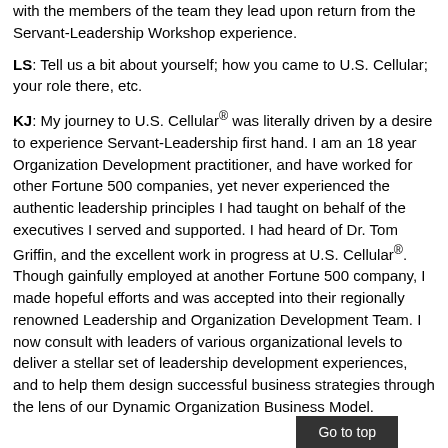with the members of the team they lead upon return from the Servant-Leadership Workshop experience.
LS: Tell us a bit about yourself; how you came to U.S. Cellular; your role there, etc.
KJ: My journey to U.S. Cellular® was literally driven by a desire to experience Servant-Leadership first hand. I am an 18 year Organization Development practitioner, and have worked for other Fortune 500 companies, yet never experienced the authentic leadership principles I had taught on behalf of the executives I served and supported. I had heard of Dr. Tom Griffin, and the excellent work in progress at U.S. Cellular®. Though gainfully employed at another Fortune 500 company, I made hopeful efforts and was accepted into their regionally renowned Leadership and Organization Development Team. I now consult with leaders of various organizational levels to deliver a stellar set of leadership development experiences, and to help them design successful business strategies through the lens of our Dynamic Organization Business Model.